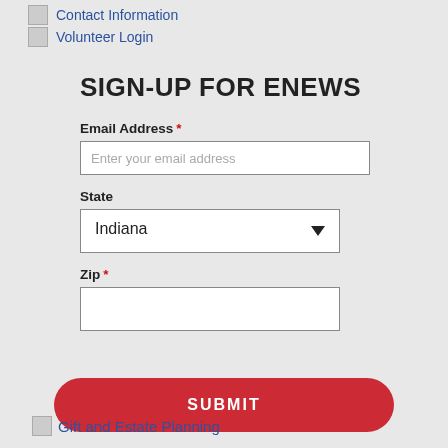Contact Information
Volunteer Login
SIGN-UP FOR ENEWS
Email Address *
Enter your email address
State
Indiana
Zip *
SUBMIT
Gift and Estate Planning